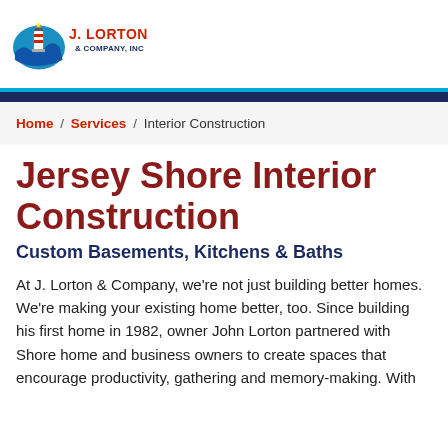[Figure (logo): J. Lorton & Company, Inc. logo with lighthouse and wave graphic, red text 'J. LORTON' and blue text '& COMPANY, INC']
Home / Services / Interior Construction
Jersey Shore Interior Construction
Custom Basements, Kitchens & Baths
At J. Lorton & Company, we're not just building better homes. We're making your existing home better, too. Since building his first home in 1982, owner John Lorton partnered with Shore home and business owners to create spaces that encourage productivity, gathering and memory-making. With